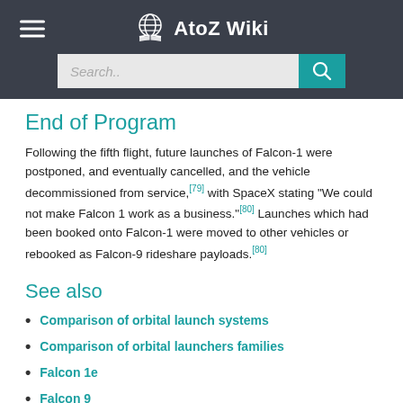AtoZ Wiki
End of Program
Following the fifth flight, future launches of Falcon-1 were postponed, and eventually cancelled, and the vehicle decommissioned from service,[79] with SpaceX stating "We could not make Falcon 1 work as a business."[80] Launches which had been booked onto Falcon-1 were moved to other vehicles or rebooked as Falcon-9 rideshare payloads.[80]
See also
Comparison of orbital launch systems
Comparison of orbital launchers families
Falcon 1e
Falcon 9